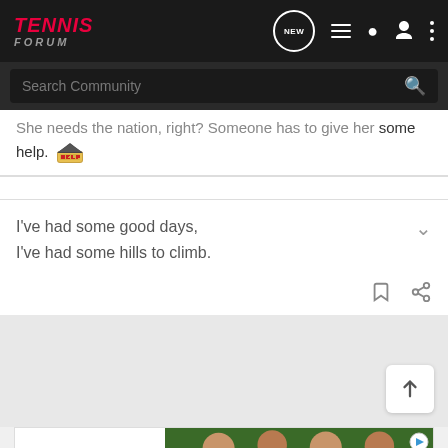Tennis Forum
She needs the nation, right? Someone has to give her some help. 🏛️
I've had some good days,
I've had some hills to climb.
[Figure (other): Advertisement banner for UNICEF showing logo and children photo]